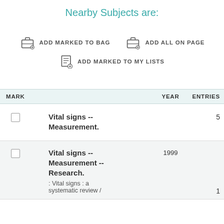Nearby Subjects are:
ADD MARKED TO BAG
ADD ALL ON PAGE
ADD MARKED TO MY LISTS
| MARK |  | YEAR | ENTRIES |
| --- | --- | --- | --- |
| ☐ | Vital signs -- Measurement. |  | 5 |
| ☐ | Vital signs -- Measurement -- Research. | 1999 | 1 |
|  | : Vital signs : a systematic review / |  |  |